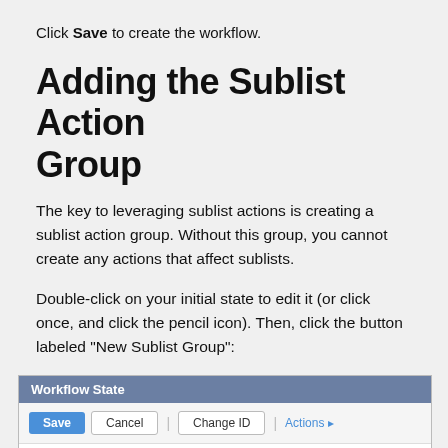Click Save to create the workflow.
Adding the Sublist Action Group
The key to leveraging sublist actions is creating a sublist action group. Without this group, you cannot create any actions that affect sublists.
Double-click on your initial state to edit it (or click once, and click the pencil icon). Then, click the button labeled "New Sublist Group":
[Figure (screenshot): Screenshot of Workflow State editor dialog showing Save, Cancel, Change ID, and Actions buttons, with WORKFLOW field showing 'Sample Sublist Workflow', NAME field showing 'State 1', and a DESCRIPTION column on the right.]